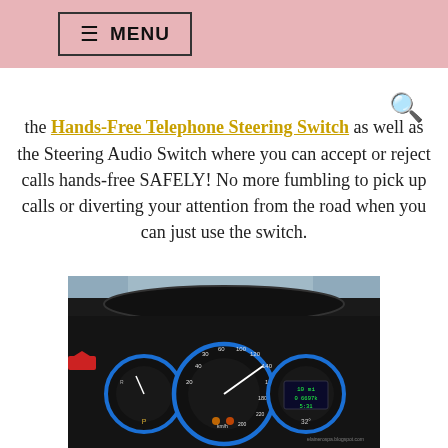≡ MENU
the Hands-Free Telephone Steering Switch as well as the Steering Audio Switch where you can accept or reject calls hands-free SAFELY! No more fumbling to pick up calls or diverting your attention from the road when you can just use the switch.
[Figure (photo): Car dashboard with instrument cluster showing speedometer and gauges with blue LED accent rings, viewed from driver's perspective with steering wheel visible at top]